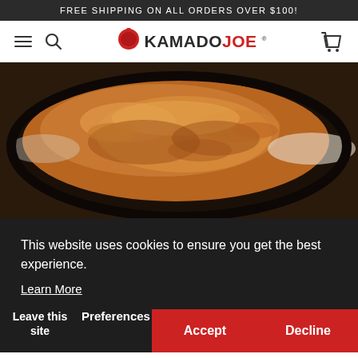FREE SHIPPING ON ALL ORDERS OVER $100!
[Figure (logo): Kamado Joe logo with red grill icon and brand name in black and red text]
[Figure (photo): Close-up photo of caramelized food (likely a tarte tatin or skillet dessert) in a dark cast iron pan, with golden-brown caramelized apple or fruit texture]
This website uses cookies to ensure you get the best experience.
Learn More
Leave this site
Preferences
Accept
Decline